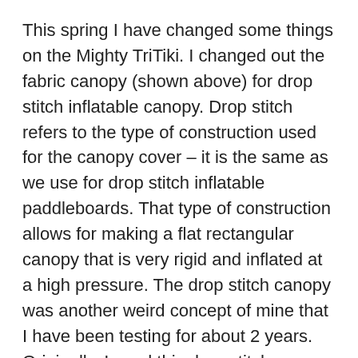This spring I have changed some things on the Mighty TriTiki. I changed out the fabric canopy (shown above) for drop stitch inflatable canopy. Drop stitch refers to the type of construction used for the canopy cover – it is the same as we use for drop stitch inflatable paddleboards. That type of construction allows for making a flat rectangular canopy that is very rigid and inflated at a high pressure. The drop stitch canopy was another weird concept of mine that I have been testing for about 2 years. Originally, I used this drop stitch canopy on a prototype transom boat I was testing.
A drop stitch canopy is a very expensive solution to our traditional canopy for an inflatable boat. It is far more expensive than a fabric canopy, but it does have some distinct advantages. It is rock rigid and it covers a larger